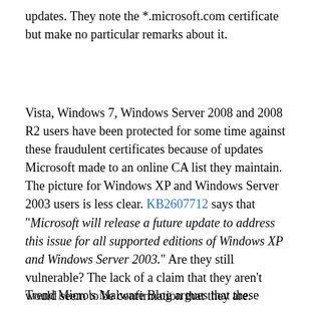updates. They note the *.microsoft.com certificate but make no particular remarks about it.
Vista, Windows 7, Windows Server 2008 and 2008 R2 users have been protected for some time against these fraudulent certificates because of updates Microsoft made to an online CA list they maintain. The picture for Windows XP and Windows Server 2003 users is less clear. KB2607712 says that "Microsoft will release a future update to address this issue for all supported editions of Windows XP and Windows Server 2003." Are they still vulnerable? The lack of a claim that they aren't would seem to be confirmation that they are.
Trend Micro's Malware Blog argues that these